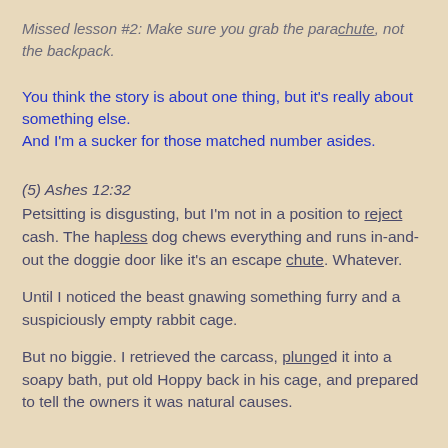Missed lesson #2: Make sure you grab the parachute, not the backpack.
You think the story is about one thing, but it's really about something else.
And I'm a sucker for those matched number asides.
(5) Ashes 12:32
Petsitting is disgusting, but I'm not in a position to reject cash. The hapless dog chews everything and runs in-and-out the doggie door like it's an escape chute. Whatever.
Until I noticed the beast gnawing something furry and a suspiciously empty rabbit cage.
But no biggie. I retrieved the carcass, plunged it into a soapy bath, put old Hoppy back in his cage, and prepared to tell the owners it was natural causes.